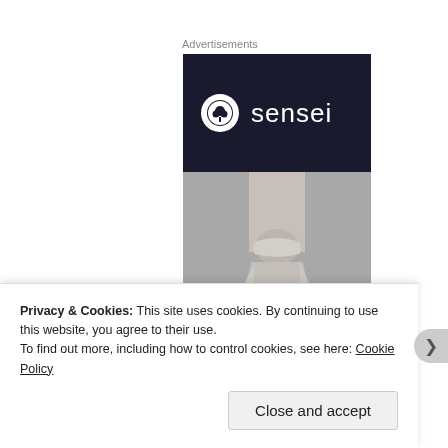Advertisements
[Figure (logo): Sensei brand advertisement with dark navy top section showing circular white logo with bonsai tree icon and 'sensei' text, and lower section showing a black and white photo of ballet pointe shoes]
Privacy & Cookies: This site uses cookies. By continuing to use this website, you agree to their use.
To find out more, including how to control cookies, see here: Cookie Policy
Close and accept